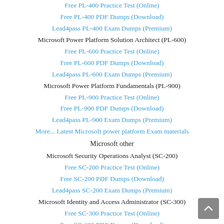Free PL-400 Practice Test (Online)
Free PL-400 PDF Dumps (Download)
Lead4pass PL-400 Exam Dumps (Premium)
Microsoft Power Platform Solution Architect (PL-600)
Free PL-600 Practice Test (Online)
Free PL-600 PDF Dumps (Download)
Lead4pass PL-600 Exam Dumps (Premium)
Microsoft Power Platform Fundamentals (PL-900)
Free PL-900 Practice Test (Online)
Free PL-900 PDF Dumps (Download)
Lead4pass PL-900 Exam Dumps (Premium)
More... Latest Microsoft power platform Exam materials
Microsoft other
Microsoft Security Operations Analyst (SC-200)
Free SC-200 Practice Test (Online)
Free SC-200 PDF Dumps (Download)
Lead4pass SC-200 Exam Dumps (Premium)
Microsoft Identity and Access Administrator (SC-300)
Free SC-300 Practice Test (Online)
Free SC-300 PDF Dumps (Download)
Lead4pass SC-300 Exam Dumps (Premium)
Microsoft Information Protection Administrator (SC-400)